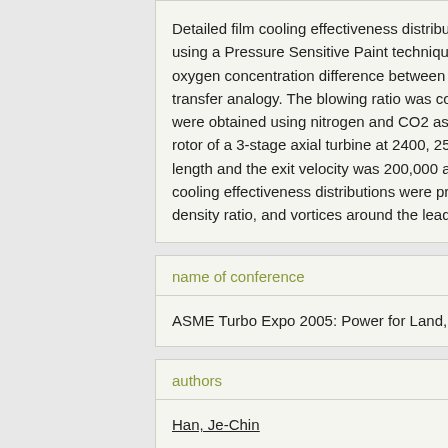Detailed film cooling effectiveness distributions were obtained using a Pressure Sensitive Paint technique. The film cooling effectiveness was determined from the oxygen concentration difference between air and nitrogen with the heat and mass transfer analogy. The blowing ratio was controlled to 1.5. The measurements were obtained using nitrogen and CO2 as coolant gases on the first-stage rotor of a 3-stage axial turbine at 2400, 2550, and 3000 rpm. The axial chord length and the exit velocity was 200,000 and the total measurement of film cooling effectiveness distributions were presented based on the blowing ratio, density ratio, and vortices around the leading edge.
name of conference
ASME Turbo Expo 2005: Power for Land, Sea, and Air
authors
Han, Je-Chin